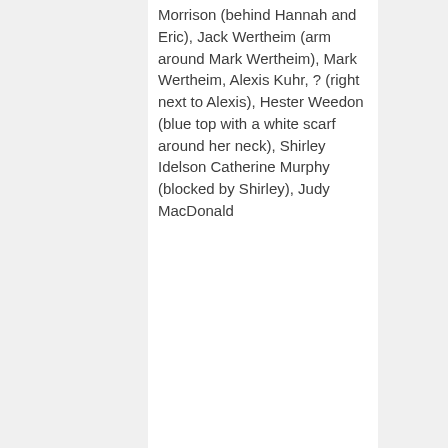Morrison (behind Hannah and Eric), Jack Wertheim (arm around Mark Wertheim), Mark Wertheim, Alexis Kuhr, ? (right next to Alexis), Hester Weedon (blue top with a white scarf around her neck), Shirley Idelson Catherine Murphy (blocked by Shirley), Judy MacDonald